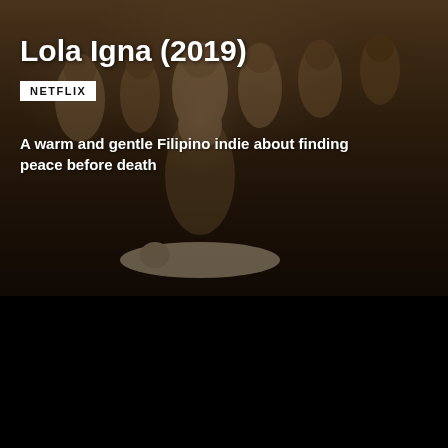[Figure (photo): Dark cinematic still from the film Lola Igna (2019) showing an elderly woman surrounded by people in a dimly lit scene]
Lola Igna (2019)
NETFLIX
A warm and gentle Filipino indie about finding peace before death
[Figure (photo): Gray/muted still image from the film, partially visible lower section]
7.2